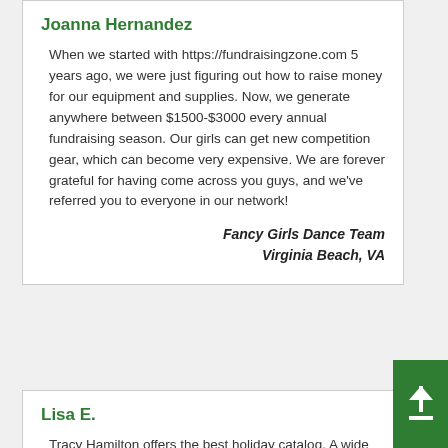Joanna Hernandez
When we started with https://fundraisingzone.com 5 years ago, we were just figuring out how to raise money for our equipment and supplies. Now, we generate anywhere between $1500-$3000 every annual fundraising season. Our girls can get new competition gear, which can become very expensive. We are forever grateful for having come across you guys, and we've referred you to everyone in our network!
Fancy Girls Dance Team
Virginia Beach, VA
Lisa E.
Tracy Hamilton offers the best holiday catalog. A wide variety of merchandise at reasonable prices. We received our merchandise very quickly and it great condition. Any problems were rectified